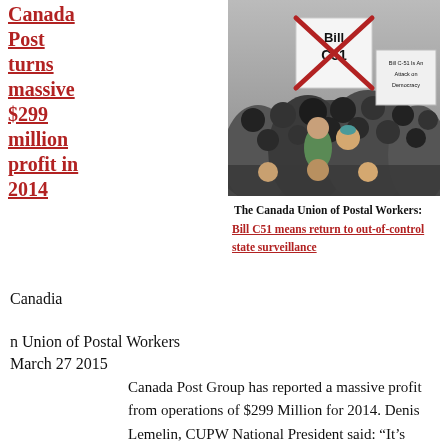Canada Post turns massive $299 million profit in 2014
[Figure (photo): Crowd of protesters at an anti-Bill C-51 rally, some holding signs reading 'Bill C51' with a red X through it and 'Bill C-51 Is An Attack on Democracy']
The Canada Union of Postal Workers: Bill C51 means return to out-of-control state surveillance
Canadian Union of Postal Workers
March 27 2015
Canada Post Group has reported a massive profit from operations of $299 Million for 2014. Denis Lemelin, CUPW National President said: “It’s some $555 Million better than the loss